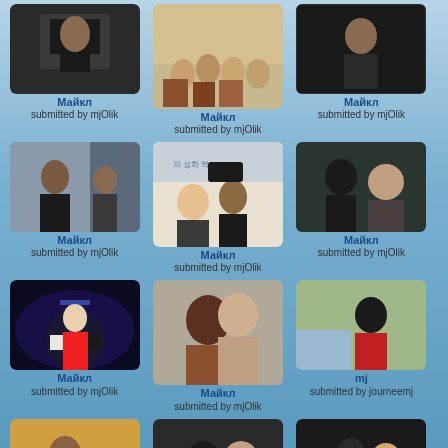[Figure (photo): Photo of Michael Jackson - dark background]
Майкл
submitted by mjOlik
[Figure (photo): Group photo with children]
Майкл
submitted by mjOlik
[Figure (photo): Photo of Michael Jackson - dark background]
Майкл
submitted by mjOlik
[Figure (photo): Michael Jackson with others outdoors]
Майкл
submitted by mjOlik
[Figure (photo): Michael Jackson in hat with person in formal setting]
Майкл
submitted by mjOlik
[Figure (photo): Michael Jackson with person indoors]
Майкл
submitted by mjOlik
[Figure (photo): Michael Jackson performing on stage in red jacket]
Майкл
submitted by mjOlik
[Figure (photo): Close up embrace photo]
Майкл
submitted by mjOlik
[Figure (photo): Michael Jackson in red shirt]
mj
submitted by journeemj
[Figure (photo): Michael Jackson with colorful outfit]
[Figure (photo): Michael Jackson with woman]
[Figure (photo): Michael Jackson with others dark setting]